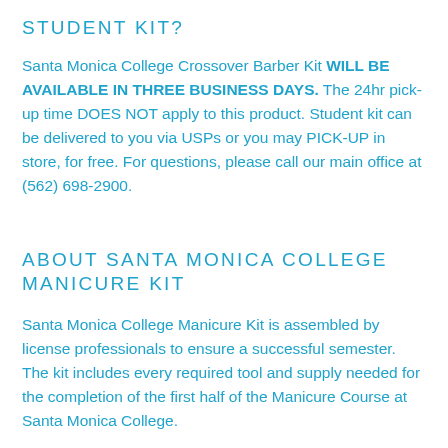STUDENT KIT?
Santa Monica College Crossover Barber Kit WILL BE AVAILABLE IN THREE BUSINESS DAYS. The 24hr pick-up time DOES NOT apply to this product. Student kit can be delivered to you via USPs or you may PICK-UP in store, for free. For questions, please call our main office at (562) 698-2900.
ABOUT SANTA MONICA COLLEGE MANICURE KIT
Santa Monica College Manicure Kit is assembled by license professionals to ensure a successful semester. The kit includes every required tool and supply needed for the completion of the first half of the Manicure Course at Santa Monica College.